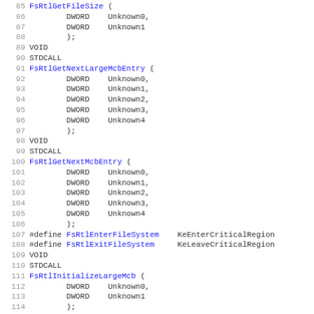Code listing lines 85-116 showing C function declarations including FsRtlGetFileSize, FsRtlGetNextLargeMcbEntry, FsRtlGetNextMcbEntry, FsRtlEnterFileSystem, FsRtlExitFileSystem, and FsRtlInitializeLargeMcb